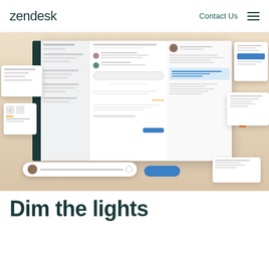[Figure (screenshot): Zendesk logo in dark teal color]
Contact Us
[Figure (screenshot): Hamburger menu icon with three horizontal lines]
[Figure (screenshot): Zendesk customer support interface showing ticket management, conversation view with agent and customer messages, customer profile panel, and floating UI cards on a beige/tan background]
Dim the lights